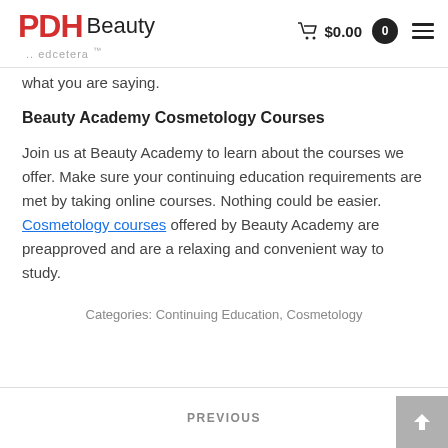PDH Beauty ..edcetera.. $0.00 0
what you are saying.
Beauty Academy Cosmetology Courses
Join us at Beauty Academy to learn about the courses we offer. Make sure your continuing education requirements are met by taking online courses. Nothing could be easier. Cosmetology courses offered by Beauty Academy are preapproved and are a relaxing and convenient way to study.
Categories: Continuing Education, Cosmetology
PREVIOUS